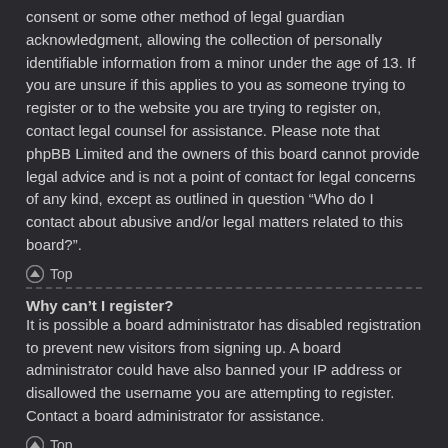consent or some other method of legal guardian acknowledgment, allowing the collection of personally identifiable information from a minor under the age of 13. If you are unsure if this applies to you as someone trying to register or to the website you are trying to register on, contact legal counsel for assistance. Please note that phpBB Limited and the owners of this board cannot provide legal advice and is not a point of contact for legal concerns of any kind, except as outlined in question “Who do I contact about abusive and/or legal matters related to this board?”.
Top
Why can’t I register?
It is possible a board administrator has disabled registration to prevent new visitors from signing up. A board administrator could have also banned your IP address or disallowed the username you are attempting to register. Contact a board administrator for assistance.
Top
I registered but cannot login!
First, check your username and password. If they are correct, then one of two things may have happened. If COPPA support is enabled and